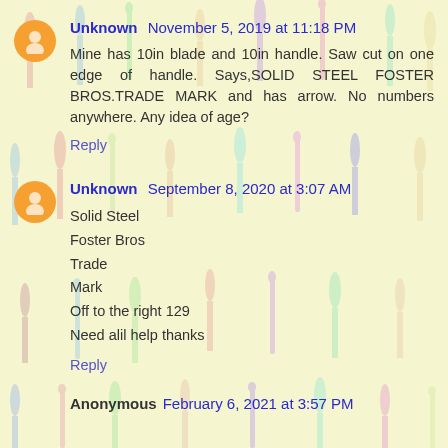Unknown  November 5, 2019 at 11:18 PM
Mine has 10in blade and 10in handle. Saw cut on one edge of handle. Says,SOLID STEEL FOSTER BROS.TRADE MARK and has arrow. No numbers anywhere. Any idea of age?
Reply
Unknown  September 8, 2020 at 3:07 AM
Solid Steel
Foster Bros
Trade
Mark
Off to the right 129
Need alil help thanks
Reply
Anonymous  February 6, 2021 at 3:57 PM